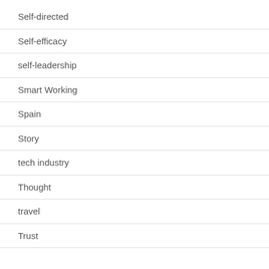Self-directed
Self-efficacy
self-leadership
Smart Working
Spain
Story
tech industry
Thought
travel
Trust